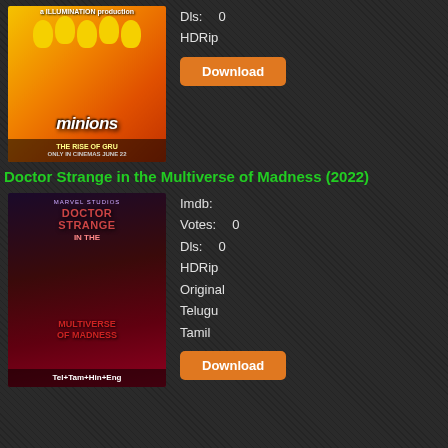[Figure (photo): Movie poster for Minions: The Rise of Gru - animated characters with yellow minions on orange/red background]
Dls: 0
HDRip
Download
Doctor Strange in the Multiverse of Madness (2022)
[Figure (photo): Movie poster for Doctor Strange in the Multiverse of Madness - dark red/blue tones with Doctor Strange and another character, text Tel+Tam+Hin+Eng]
Imdb:
Votes: 0
Dls: 0
HDRip
Original
Telugu
Tamil
Download